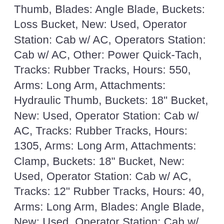Thumb, Blades: Angle Blade, Buckets: Loss Bucket, New: Used, Operator Station: Cab w/ AC, Operators Station: Cab w/ AC, Other: Power Quick-Tach, Tracks: Rubber Tracks, Hours: 550, Arms: Long Arm, Attachments: Hydraulic Thumb, Buckets: 18" Bucket, New: Used, Operator Station: Cab w/ AC, Tracks: Rubber Tracks, Hours: 1305, Arms: Long Arm, Attachments: Clamp, Buckets: 18" Bucket, New: Used, Operator Station: Cab w/ AC, Tracks: 12" Rubber Tracks, Hours: 40, Arms: Long Arm, Blades: Angle Blade, New: Used, Operator Station: Cab w/ AC, Standard Warranty thru: 9/2/2022, Tracks: Rubber Tracks. Looking to get more out of your “mini ex”? You’re a power user moving through this website with super human